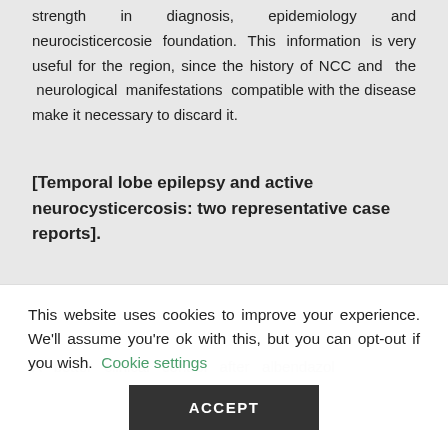strength in diagnosis, epidemiology and neurocisticercosie foundation. This information is very useful for the region, since the history of NCC and the neurological manifestations compatible with the disease make it necessary to discard it.
[Temporal lobe epilepsy and active neurocysticercosis: two representative case reports].
A better clinical control after albendazol
This website uses cookies to improve your experience. We'll assume you're ok with this, but you can opt-out if you wish. Cookie settings
ACCEPT